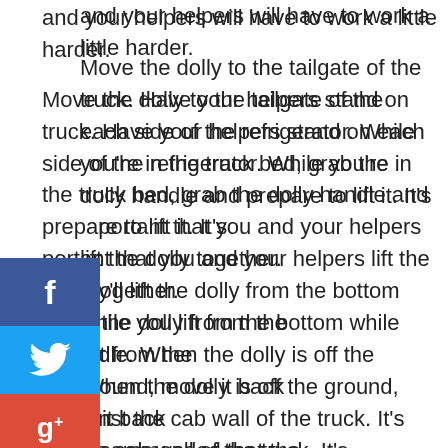and your helpers will have to work a little harder.
Move the dolly to the tailgate of the truck. Have your helpers stand on each side of the refrigerator. While you're in the truck bed, grab the dolly handle and prepare to lift it. It's important that you and your helpers lift the dolly together. They'll lift the dolly from the bottom while you lift from the handle. When the dolly is off the ground, move it back against the cab wall of the truck. It's recommended that the fridge should always be upright in the truck.
Secure the Refrigerator
Great, the refrigerator is loaded. Next, use a set of ratchet straps to secure the refrigerator into place. This is especially important if you are moving cross country. Secure one strap over the top of the fridge. Place the second strap around the front. Pull the fridge towards the cab and tighten the straps.
[Figure (infographic): Social media sharing bar with icons for Facebook, Twitter, Google+, LinkedIn, Pinterest, and YouTube]